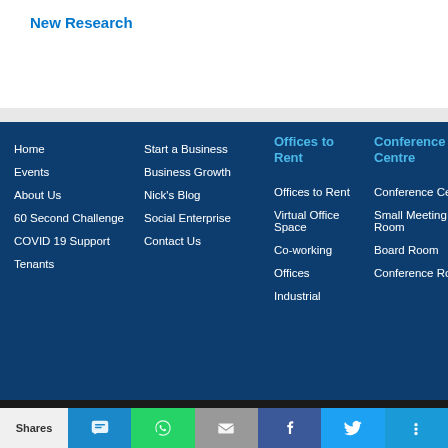New Research
Home
Start a Business
Offices to Rent
Conference Centre
Events
Business Growth
Offices to Rent
Conference Centre
About Us
Nick's Blog
Virtual Office Space
Small Meeting Room
60 Second Challenge
Social Enterprise
Co-working
Board Room
COVID 19 Support
Contact Us
Offices
Conference Room
Tenants
Industrial
We use cookies to ensure that we give you the best experience on our website. If you continue to use this site we will assume that you are happy with it.
Shares